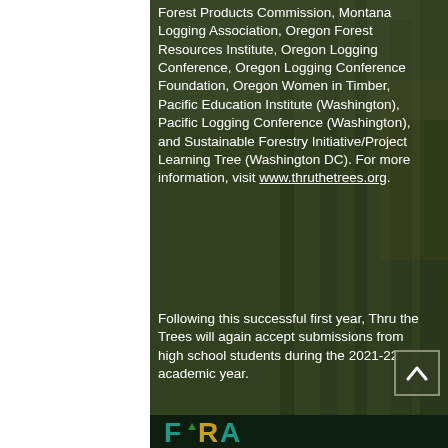Forest Products Commission, Montana Logging Association, Oregon Forest Resources Institute, Oregon Logging Conference, Oregon Logging Conference Foundation, Oregon Women in Timber, Pacific Education Institute (Washington), Pacific Logging Conference (Washington), and Sustainable Forestry Initiative/Project Learning Tree (Washington DC). For more information, visit www.thruthetrees.org.
Following this successful first year, Thru the Trees will again accept submissions from high school students during the 2021-22 academic year.
[Figure (logo): FRA logo with teal/green letters and gold R, small leaf graphic, on dark green background]